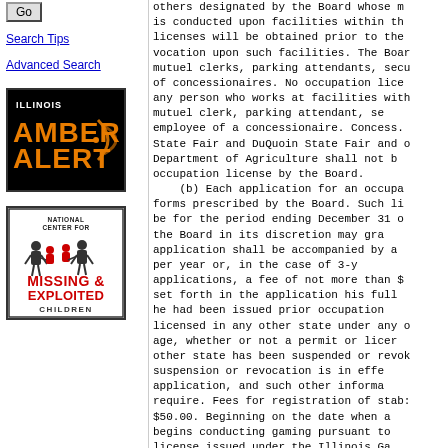[Figure (other): Illinois Amber Alert logo — black background with orange/yellow text and signal waves]
[Figure (other): National Center for Missing and Exploited Children logo — figures of adults and children with red/black text]
others designated by the Board whose meeting is conducted upon facilities within the licenses will be obtained prior to the vocation upon such facilities. The Board mutuel clerks, parking attendants, secu of concessionaires. No occupation lice any person who works at facilities with mutuel clerk, parking attendant, se employee of a concessionaire. Conces State Fair and DuQuoin State Fair and Department of Agriculture shall not b occupation license by the Board.
(b) Each application for an occupa forms prescribed by the Board. Such li be for the period ending December 31 o the Board in its discretion may gra application shall be accompanied by a per year or, in the case of 3-y applications, a fee of not more than $ set forth in the application his full he had been issued prior occupation licensed in any other state under any o age, whether or not a permit or licer other state has been suspended or revok suspension or revocation is in effe application, and such other informa require. Fees for registration of stab $50.00. Beginning on the date when a begins conducting gaming pursuant to license issued under the Illinois Ga registration of stable names shall